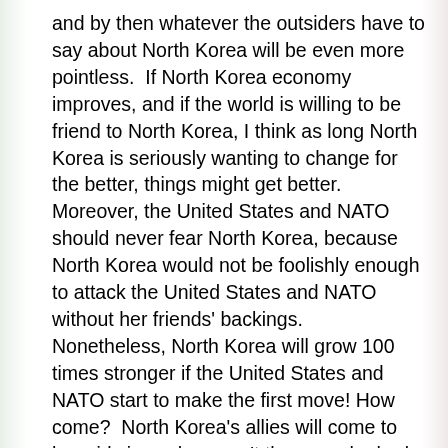and by then whatever the outsiders have to say about North Korea will be even more pointless. If North Korea economy improves, and if the world is willing to be friend to North Korea, I think as long North Korea is seriously wanting to change for the better, things might get better. Moreover, the United States and NATO should never fear North Korea, because North Korea would not be foolishly enough to attack the United States and NATO without her friends' backings. Nonetheless, North Korea will grow 100 times stronger if the United States and NATO start to make the first move! How come? North Korea's allies will come to her aid since she wasn't the one who had made the first move!

In summary, I think the North Korea situation is very unique in today world! She has nuclear weapons